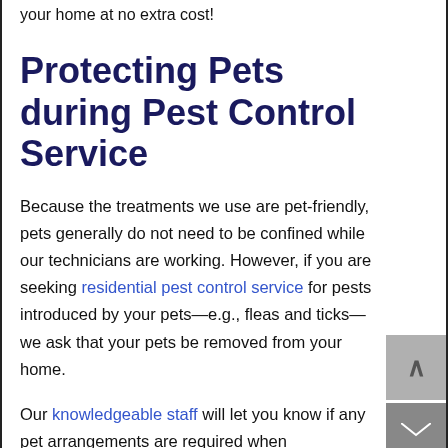your home at no extra cost!
Protecting Pets during Pest Control Service
Because the treatments we use are pet-friendly, pets generally do not need to be confined while our technicians are working. However, if you are seeking residential pest control service for pests introduced by your pets—e.g., fleas and ticks—we ask that your pets be removed from your home.
Our knowledgeable staff will let you know if any pet arrangements are required when